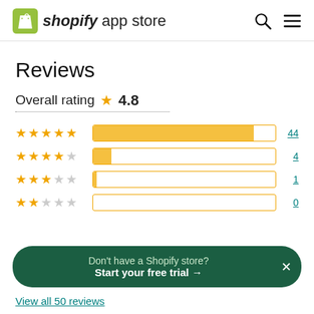Shopify app store
Reviews
Overall rating ★ 4.8
[Figure (bar-chart): Rating distribution]
Don't have a Shopify store? Start your free trial →
View all 50 reviews